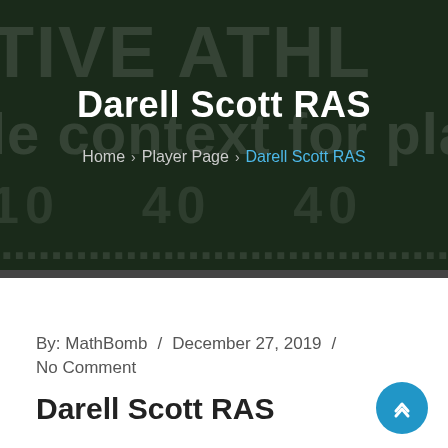Darell Scott RAS
Home › Player Page › Darell Scott RAS
By: MathBomb / December 27, 2019 / No Comment
Darell Scott RAS